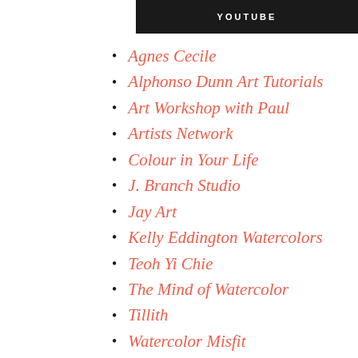[Figure (other): Black banner header bar with text YOUTUBE in white capital letters]
Agnes Cecile
Alphonso Dunn Art Tutorials
Art Workshop with Paul
Artists Network
Colour in Your Life
J. Branch Studio
Jay Art
Kelly Eddington Watercolors
Teoh Yi Chie
The Mind of Watercolor
Tillith
Watercolor Misfit